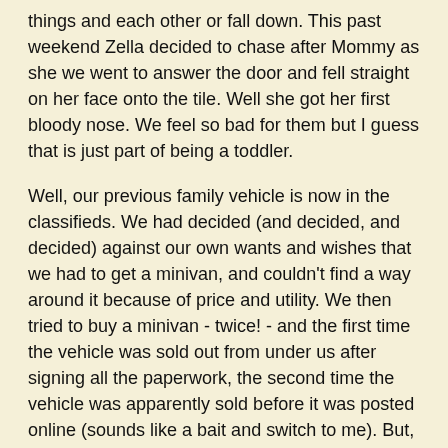things and each other or fall down. This past weekend Zella decided to chase after Mommy as she we went to answer the door and fell straight on her face onto the tile. Well she got her first bloody nose. We feel so bad for them but I guess that is just part of being a toddler.
Well, our previous family vehicle is now in the classifieds. We had decided (and decided, and decided) against our own wants and wishes that we had to get a minivan, and couldn't find a way around it because of price and utility. We then tried to buy a minivan - twice! - and the first time the vehicle was sold out from under us after signing all the paperwork, the second time the vehicle was apparently sold before it was posted online (sounds like a bait and switch to me). But, I guess when dealerships and car companies are going out of business/getting forced out of business, morals tend to go out the window.
So then we ran across an affordable Dodge Durango. But it was an 06, and we decided against it because it was a good deal, but not a great deal. Then after we got home, we looked online and discovered that they had mis-labeled it as